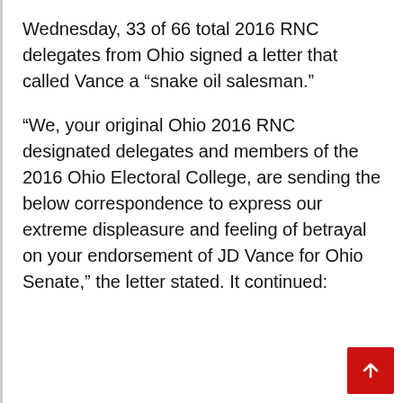Wednesday, 33 of 66 total 2016 RNC delegates from Ohio signed a letter that called Vance a “snake oil salesman.”
“We, your original Ohio 2016 RNC designated delegates and members of the 2016 Ohio Electoral College, are sending the below correspondence to express our extreme displeasure and feeling of betrayal on your endorsement of JD Vance for Ohio Senate,” the letter stated. It continued: